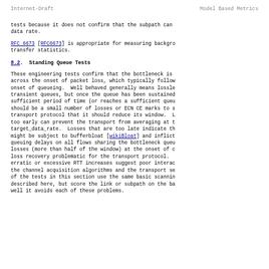Internet-Draft                    Model Based Metrics
tests because it does not confirm that the subpath can
data rate.
RFC 6673 [RFC6673] is appropriate for measuring backgro
transfer statistics.
8.2.  Standing Queue Tests
These engineering tests confirm that the bottleneck is
across the onset of packet loss, which typically follow
onset of queueing.  Well behaved generally means losle
transient queues, but once the queue has been sustained
sufficient period of time (or reaches a sufficient queu
should be a small number of losses or ECN CE marks to s
transport protocol that it should reduce its window.  L
too early can prevent the transport from averaging at t
target_data_rate.  Losses that are too late indicate th
might be subject to bufferbloat [wikiBloat] and inflict
queuing delays on all flows sharing the bottleneck queu
losses (more than half of the window) at the onset of c
loss recovery problematic for the transport protocol.
erratic or excessive RTT increases suggest poor interac
the channel acquisition algorithms and the transport se
of the tests in this section use the same basic scannin
described here, but score the link or subpath on the ba
well it avoids each of these problems.